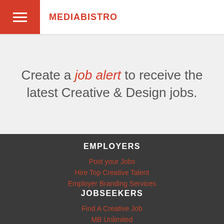MEDIABISTRO
Create a job alert to receive the latest Creative & Design jobs.
EMPLOYERS
Post your Jobs
Hire Top Creative Talent
Employer Branding Services
JOBSEEKERS
Find A Creative Job
MB Unlimited
Resume Services
Freelancer Resources